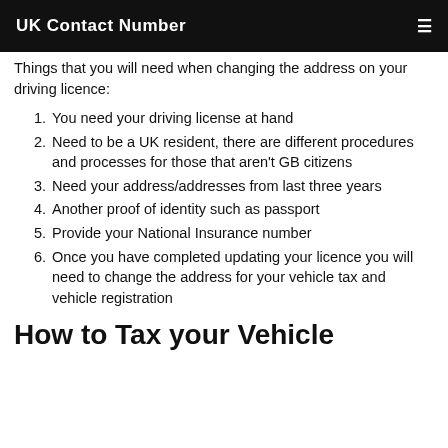UK Contact Number
Things that you will need when changing the address on your driving licence:
You need your driving license at hand
Need to be a UK resident, there are different procedures and processes for those that aren't GB citizens
Need your address/addresses from last three years
Another proof of identity such as passport
Provide your National Insurance number
Once you have completed updating your licence you will need to change the address for your vehicle tax and vehicle registration
How to Tax your Vehicle